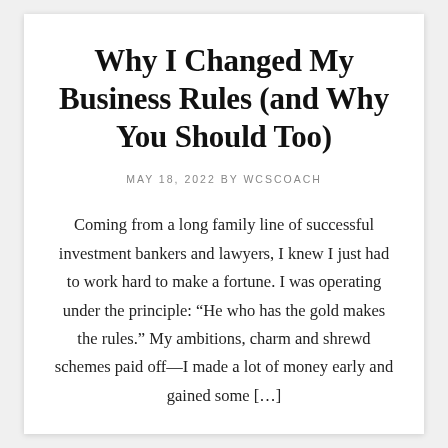Why I Changed My Business Rules (and Why You Should Too)
MAY 18, 2022 BY WCSCOACH
Coming from a long family line of successful investment bankers and lawyers, I knew I just had to work hard to make a fortune. I was operating under the principle: “He who has the gold makes the rules.” My ambitions, charm and shrewd schemes paid off—I made a lot of money early and gained some [...]